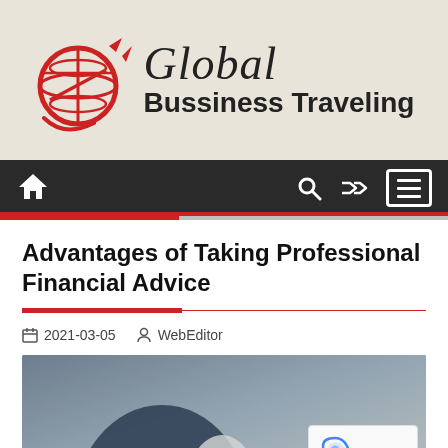[Figure (logo): Global Bussiness Traveling logo with red globe icon and text]
Navigation bar with home, search, shuffle, and menu icons
Advantages of Taking Professional Financial Advice
2021-03-05   WebEditor
[Figure (photo): Blurred photo of a person in a blue blazer and white shirt, partial view of torso]